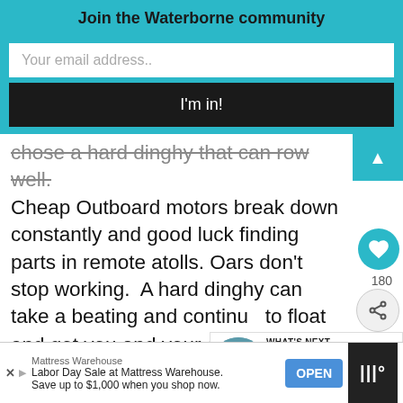Join the Waterborne community
Your email address..
I'm in!
chose a hard dinghy that can row well. Cheap Outboard motors break down constantly and good luck finding parts in remote atolls. Oars don't stop working. A hard dinghy can take a beating and continue to float and get you and your crew to shore Inflatables spring leaks and need to be patched all the time. UV radiation deteriorate the fabric of inflatables causing you to replace your tender every couple of ye... ophy of
180
WHAT'S NEXT → How to careen a sailboat - the lo...
Mattress Warehouse
Labor Day Sale at Mattress Warehouse.
Save up to $1,000 when you shop now.
OPEN